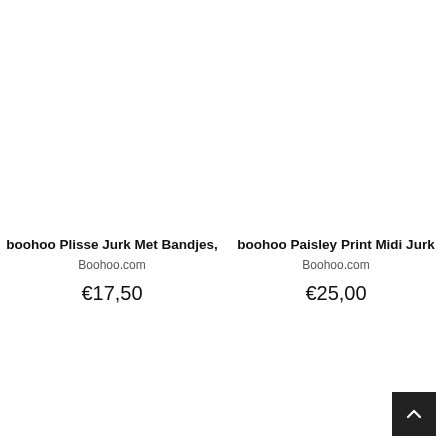boohoo Plisse Jurk Met Bandjes,
Boohoo.com
€17,50
boohoo Paisley Print Midi Jurk
Boohoo.com
€25,00